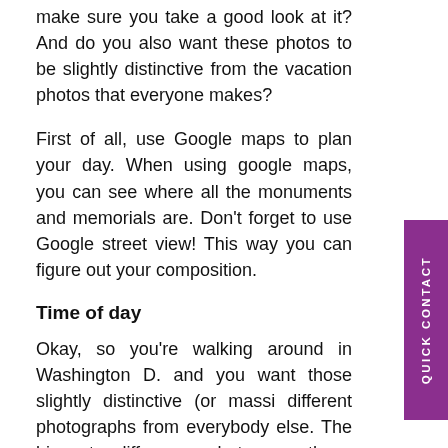make sure you take a good look at it? And do you also want these photos to be slightly distinctive from the vacation photos that everyone makes?
First of all, use Google maps to plan your day. When using google maps, you can see where all the monuments and memorials are. Don't forget to use Google street view! This way you can figure out your composition.
Time of day
Okay, so you're walking around in Washington D.C. and you want those slightly distinctive (or massively) different photographs from everybody else. The biggest difference between those awesome photographs you see hanging in the Smithsonian and your vacation photos is that these photos are taken